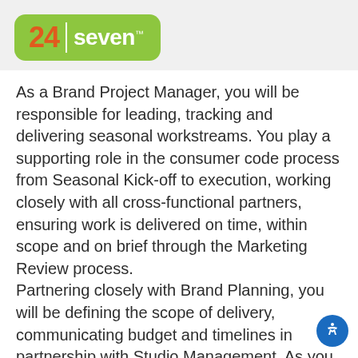[Figure (logo): 24 seven logo: green rounded rectangle with orange '24', white vertical divider, white 'seven' text with TM superscript]
As a Brand Project Manager, you will be responsible for leading, tracking and delivering seasonal workstreams. You play a supporting role in the consumer code process from Seasonal Kick-off to execution, working closely with all cross-functional partners, ensuring work is delivered on time, within scope and on brief through the Marketing Review process.
Partnering closely with Brand Planning, you will be defining the scope of delivery, communicating budget and timelines in partnership with Studio Management. As you manage creative workstreams, you will elevate risks to appropriate team members.
You will build relationships across the brand marketing matrix and will contribute towards project management strategy to continuously improve the way we work